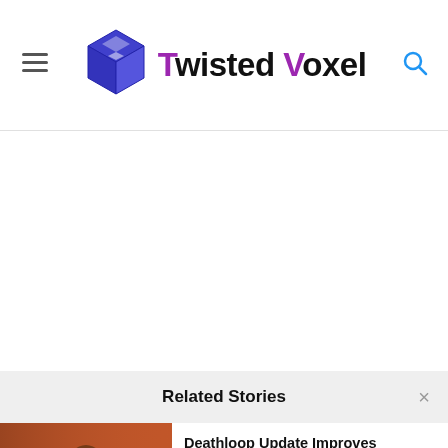Twisted Voxel
Related Stories
[Figure (photo): Thumbnail image of Deathloop game character on orange/red background]
Deathloop Update Improves Performance With Ray-Tracing On PS5